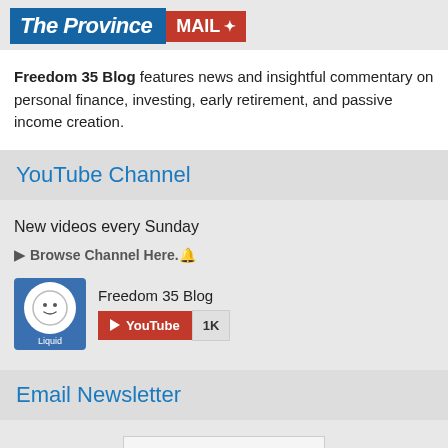[Figure (logo): The Province newspaper logo (blue background, white italic text) next to MAIL maple leaf logo (red background, white text)]
Freedom 35 Blog features news and insightful commentary on personal finance, investing, early retirement, and passive income creation.
YouTube Channel
New videos every Sunday
► Browse Channel Here.🔔
[Figure (screenshot): YouTube subscribe widget showing Freedom 35 Blog channel with avatar icon labeled 'Liquid', YouTube button in red, and 1K subscriber count]
Email Newsletter